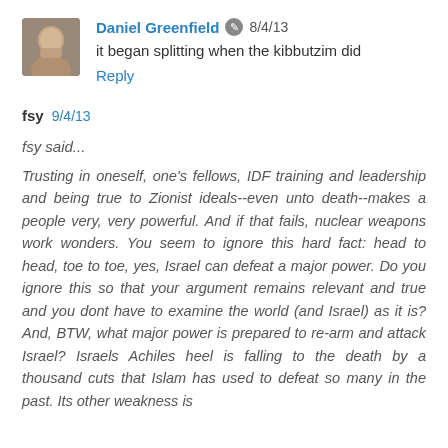[Figure (photo): Small avatar photo of Daniel Greenfield, appears to be a man's face]
Daniel Greenfield ✎ 8/4/13
it began splitting when the kibbutzim did
Reply
fsy  9/4/13
fsy said...
Trusting in oneself, one's fellows, IDF training and leadership and being true to Zionist ideals--even unto death--makes a people very, very powerful. And if that fails, nuclear weapons work wonders. You seem to ignore this hard fact: head to head, toe to toe, yes, Israel can defeat a major power. Do you ignore this so that your argument remains relevant and true and you dont have to examine the world (and Israel) as it is? And, BTW, what major power is prepared to re-arm and attack Israel? Israels Achiles heel is falling to the death by a thousand cuts that Islam has used to defeat so many in the past. Its other weakness is